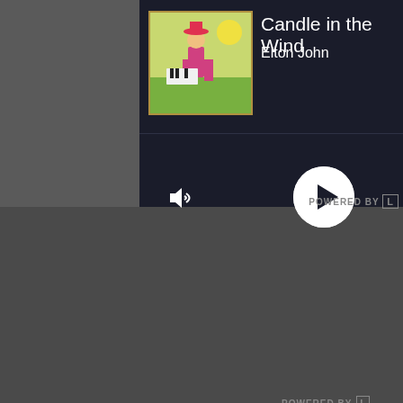[Figure (screenshot): Music player app screenshot showing Candle in the Wind by Elton John with album art, player controls with volume and play button, and a KDAZDB DEUX last played list]
Candle in the Wind
Elton John
KDAZDB DEUX
LAST PLAYED
Candle in the Wind
Elton John
4 minutes
ADBREAK_120000 4
Live365
6 minutes
POWERED BY